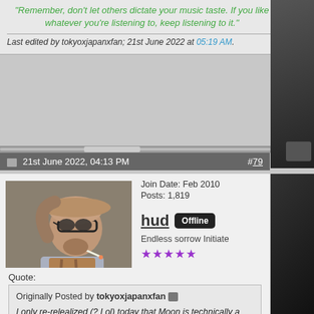"Remember, don't let others dictate your music taste. If you like whatever you're listening to, keep listening to it."
Last edited by tokyoxjapanxfan; 21st June 2022 at 05:19 AM.
21st June 2022, 04:13 PM  #79
[Figure (photo): Profile photo of user 'hud': older man with glasses pushed up, cigarette in mouth, wearing brown vest]
Join Date: Feb 2010
Posts: 1,819
hud  Offline
Endless sorrow Initiate
★★★★★
Quote:
Originally Posted by tokyoxjapanxfan
I only re-relealized (? Lol) today that Moon is technically a summer single…

Do people here consider it one???

I mean it was sung on tour and then released so, it's